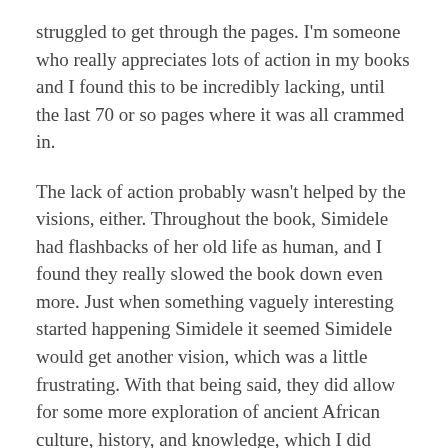struggled to get through the pages. I'm someone who really appreciates lots of action in my books and I found this to be incredibly lacking, until the last 70 or so pages where it was all crammed in.
The lack of action probably wasn't helped by the visions, either. Throughout the book, Simidele had flashbacks of her old life as human, and I found they really slowed the book down even more. Just when something vaguely interesting started happening Simidele it seemed Simidele would get another vision, which was a little frustrating. With that being said, they did allow for some more exploration of ancient African culture, history, and knowledge, which I did enjoy – I just thought they could've been dialed down a bit.
What really sealed the deal for me, though, was when the twist was revealed. It was something I'd seen coming literally as soon as the